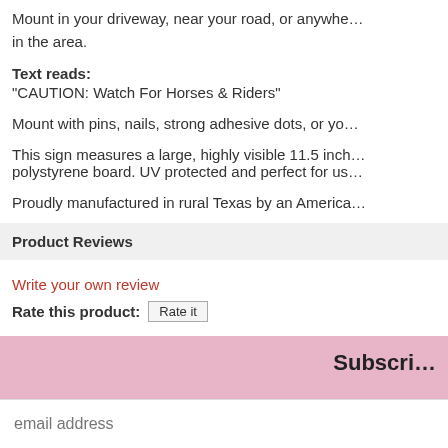Mount in your driveway, near your road, or anywhere in the area.
Text reads:
"CAUTION: Watch For Horses & Riders"
Mount with pins, nails, strong adhesive dots, or yo...
This sign measures a large, highly visible 11.5 inch... polystyrene board. UV protected and perfect for us...
Proudly manufactured in rural Texas by an America...
Product Reviews
Write your own review
Rate this product: Rate it
Subscri...
email address